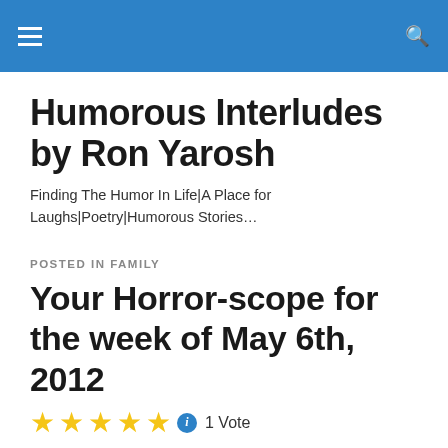Humorous Interludes by Ron Yarosh — site header navigation bar
Humorous Interludes by Ron Yarosh
Finding The Humor In Life|A Place for Laughs|Poetry|Humorous Stories…
POSTED IN FAMILY
Your Horror-scope for the week of May 6th, 2012
★★★★★ ℹ 1 Vote
Aries… Mars is favorable right now. Exercise will be good